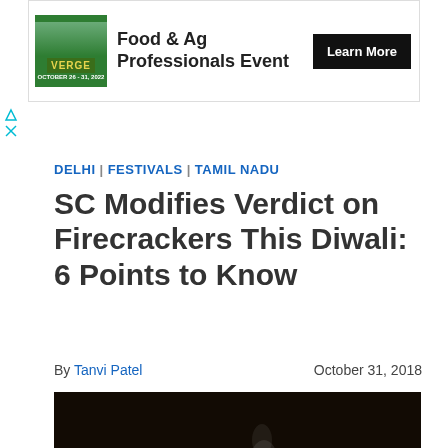[Figure (infographic): Advertisement banner for 'Food & Ag Professionals Event' with VERGE logo and Learn More button]
DELHI | FESTIVALS | TAMIL NADU
SC Modifies Verdict on Firecrackers This Diwali: 6 Points to Know
By Tanvi Patel   October 31, 2018
[Figure (photo): A young girl in a yellow dress lighting firecrackers at night, with bright sparks and smoke visible. Representative image.]